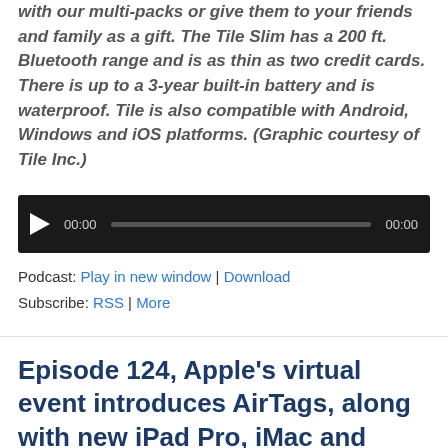with our multi-packs or give them to your friends and family as a gift. The Tile Slim has a 200 ft. Bluetooth range and is as thin as two credit cards. There is up to a 3-year built-in battery and is waterproof. Tile is also compatible with Android, Windows and iOS platforms. (Graphic courtesy of Tile Inc.)
[Figure (other): Audio podcast player with play button, time display 00:00, progress bar, and end time 00:00 on dark background]
Podcast: Play in new window | Download
Subscribe: RSS | More
Episode 124, Apple’s virtual event introduces AirTags, along with new iPad Pro, iMac and Apple TV 4K